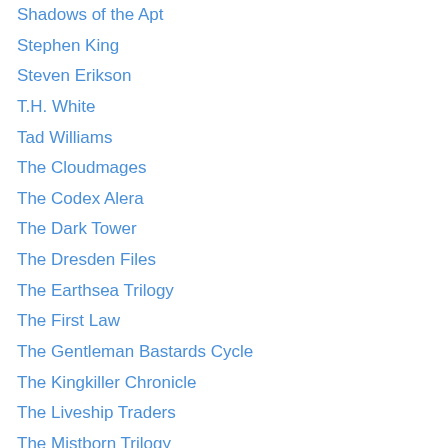Shadows of the Apt
Stephen King
Steven Erikson
T.H. White
Tad Williams
The Cloudmages
The Codex Alera
The Dark Tower
The Dresden Files
The Earthsea Trilogy
The First Law
The Gentleman Bastards Cycle
The Kingkiller Chronicle
The Liveship Traders
The Mistborn Trilogy
The Psalms of Isaak
The Riftwar Saga
The Stormlight Archive
The Sword in the Stone
The Twilight Reign